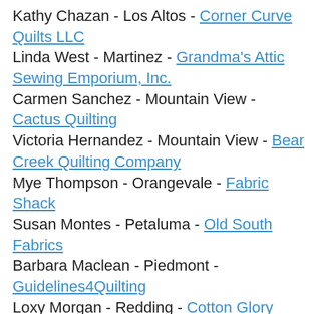Kathy Chazan - Los Altos - Corner Curve Quilts LLC
Linda West - Martinez - Grandma's Attic Sewing Emporium, Inc.
Carmen Sanchez - Mountain View - Cactus Quilting
Victoria Hernandez - Mountain View - Bear Creek Quilting Company
Mye Thompson - Orangevale - Fabric Shack
Susan Montes - Petaluma - Old South Fabrics
Barbara Maclean - Piedmont - Guidelines4Quilting
Loxy Morgan - Redding - Cotton Glory Quilts
Patricia Stewart - Redding - Thousands